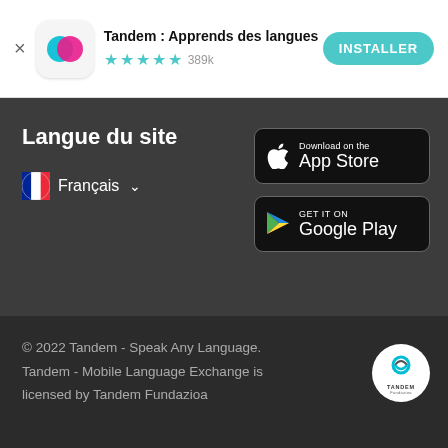[Figure (screenshot): Tandem app banner with icon, title 'Tandem : Apprends des langues', star rating 4.5 stars 389k reviews, and INSTALLER button]
Langue du site
Français
[Figure (logo): Download on the App Store button]
[Figure (logo): GET IT ON Google Play button]
© 2022 Tandem - Speak Any Language. Tandem - Mobile Language Exchange is licensed by Tandem Fundazioa
[Figure (logo): Tandem Fundazioa circular logo]